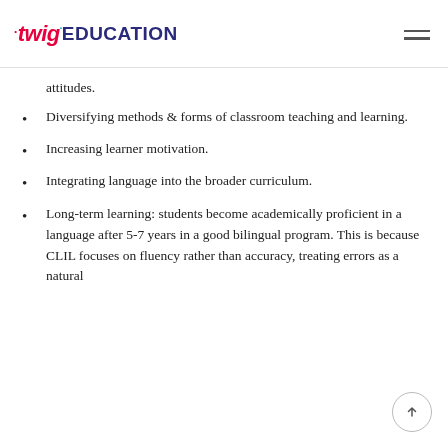twig EDUCATION
attitudes.
Diversifying methods & forms of classroom teaching and learning.
Increasing learner motivation.
Integrating language into the broader curriculum.
Long-term learning: students become academically proficient in a language after 5-7 years in a good bilingual program. This is because CLIL focuses on fluency rather than accuracy, treating errors as a natural